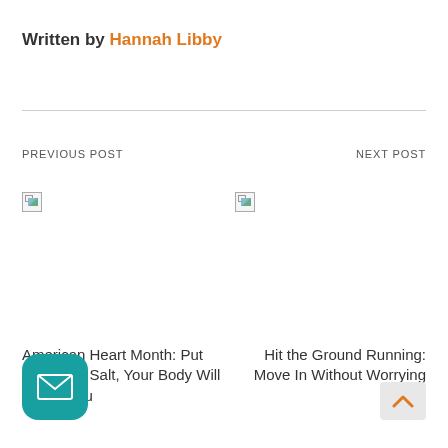Written by Hannah Libby
PREVIOUS POST
NEXT POST
[Figure (photo): Broken image placeholder for previous post thumbnail]
[Figure (photo): Broken image placeholder for next post thumbnail]
American Heart Month: Put Down the Salt, Your Body Will Thank You
Hit the Ground Running: Move In Without Worrying